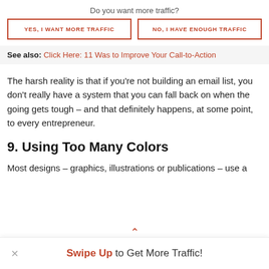Do you want more traffic?
[Figure (infographic): Two call-to-action buttons side by side: 'YES, I WANT MORE TRAFFIC' and 'NO, I HAVE ENOUGH TRAFFIC', both with orange border and orange uppercase text]
See also: Click Here: 11 Was to Improve Your Call-to-Action
The harsh reality is that if you're not building an email list, you don't really have a system that you can fall back on when the going gets tough – and that definitely happens, at some point, to every entrepreneur.
9. Using Too Many Colors
Most designs – graphics, illustrations or publications – use a
Swipe Up to Get More Traffic!